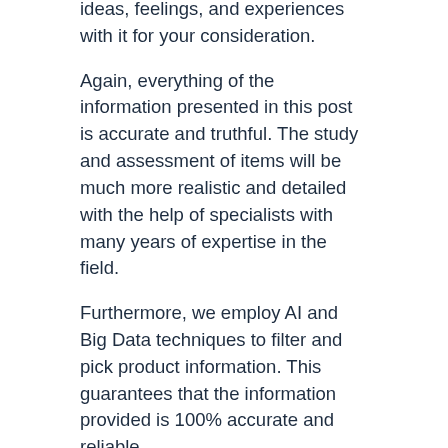ideas, feelings, and experiences with it for your consideration.
Again, everything of the information presented in this post is accurate and truthful. The study and assessment of items will be much more realistic and detailed with the help of specialists with many years of expertise in the field.
Furthermore, we employ AI and Big Data techniques to filter and pick product information. This guarantees that the information provided is 100% accurate and reliable.
The information above outlines the factors to consider when studying Best Utensils For Nonstick Cookware. The first is a set of inquiries on prior customers' difficulties. The variables that influence an outstanding product are next, which you must constantly examine when selecting a product. A list